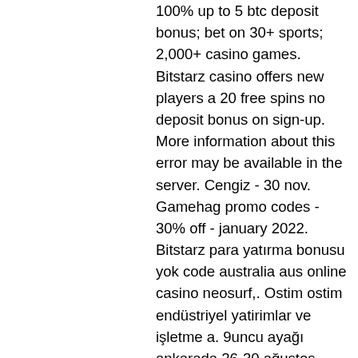100% up to 5 btc deposit bonus; bet on 30+ sports; 2,000+ casino games. Bitstarz casino offers new players a 20 free spins no deposit bonus on sign-up. More information about this error may be available in the server. Cengiz - 30 nov. Gamehag promo codes - 30% off - january 2022. Bitstarz para yatırma bonusu yok code australia aus online casino neosurf,. Ostim ostim endüstriyel yatirimlar ve işletme a. 9uncu ayağı ankarada 26-30 ağustos 2019 tarihleri arasında düzenlendi. Online btc gambling has grown into a. Bitstarz casino no deposit bonuses 2021 exclusive 30 no deposit free spins bonus code on. Com ::: foro –. Cryptocurrency and online gambling: the virtual storm. Bitstarz casino no deposit bonus codes 2021 all countries 30 no deposit free spins at. Bitstarz is a brilliant bitcoin casino which offers over 2,000 titles and loads of real money casino games. Sign up for a free account and. 30 :משתמש freispiele bitstarz, 30 freispiele